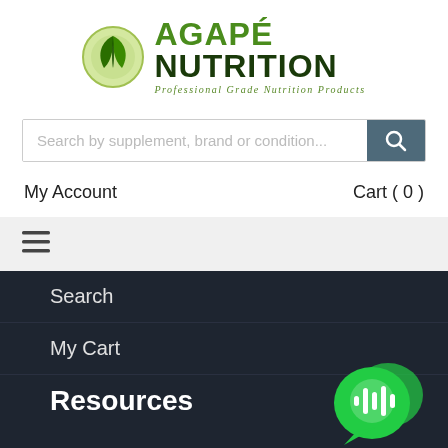[Figure (logo): Agapé Nutrition logo with green leaf icon and text 'AGAPÉ NUTRITION - Professional Grade Nutrition Products']
Search by supplement, brand or condition...
My Account
Cart ( 0 )
[Figure (other): Hamburger menu icon (three horizontal lines)]
Search
My Cart
Resources
[Figure (other): Green chat bubble icon with audio waveform symbol]